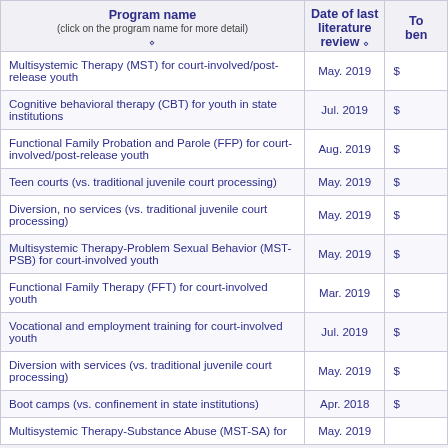| Program name
(click on the program name for more detail) | Date of last literature review | To... bene... |
| --- | --- | --- |
| Multisystemic Therapy (MST) for court-involved/post-release youth | May. 2019 | $... |
| Cognitive behavioral therapy (CBT) for youth in state institutions | Jul. 2019 | $... |
| Functional Family Probation and Parole (FFP) for court-involved/post-release youth | Aug. 2019 | $... |
| Teen courts (vs. traditional juvenile court processing) | May. 2019 | $... |
| Diversion, no services (vs. traditional juvenile court processing) | May. 2019 | $... |
| Multisystemic Therapy-Problem Sexual Behavior (MST-PSB) for court-involved youth | May. 2019 | $... |
| Functional Family Therapy (FFT) for court-involved youth | Mar. 2019 | $... |
| Vocational and employment training for court-involved youth | Jul. 2019 | $... |
| Diversion with services (vs. traditional juvenile court processing) | May. 2019 | $... |
| Boot camps (vs. confinement in state institutions) | Apr. 2018 | $... |
| Multisystemic Therapy-Substance Abuse (MST-SA) for ... | May. 2019 | ... |